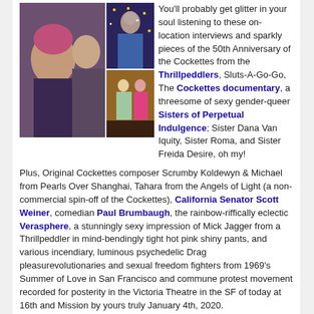[Figure (photo): Collage of photos showing people at what appears to be a theatrical/cabaret event — left large image shows two people close together, top right shows performer in colorful costume, bottom right shows two performers on a stage with sparkly backdrop.]
You'll probably get glitter in your soul listening to these on-location interviews and sparkly pieces of the 50th Anniversary of the Cockettes from the Thrillpeddlers, Sluts-A-Go-Go, The Cockettes documentary, a threesome of sexy gender-queer Sisters of Perpetual Indulgence; Sister Dana Van Iquity, Sister Roma, and Sister Freida Desire, oh my!
Plus, Original Cockettes composer Scrumby Koldewyn & Michael from Pearls Over Shanghai, Tahara from the Angels of Light (a non-commercial spin-off of the Cockettes), California Senator Scott Weiner, comedian Paul Brumbaugh, the rainbow-riffically eclectic Verasphere, a stunningly sexy impression of Mick Jagger from a Thrillpeddler in mind-bendingly tight hot pink shiny pants, and various incendiary, luminous psychedelic Drag pleasurevolutionaries and sexual freedom fighters from 1969's Summer of Love in San Francisco and commune protest movement recorded for posterity in the Victoria Theatre in the SF of today at 16th and Mission by yours truly January 4th, 2020.
Direct download: Sexploration200104LiveCockettesSexyShow.mp3
Category: general — posted at: 7:45pm PDT
Fri, 3 January 2020